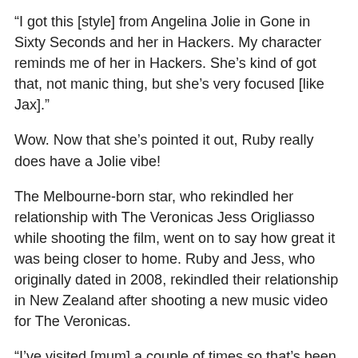“I got this [style] from Angelina Jolie in Gone in Sixty Seconds and her in Hackers. My character reminds me of her in Hackers. She’s kind of got that, not manic thing, but she’s very focused [like Jax].”
Wow. Now that she’s pointed it out, Ruby really does have a Jolie vibe!
The Melbourne-born star, who rekindled her relationship with The Veronicas Jess Origliasso while shooting the film, went on to say how great it was being closer to home. Ruby and Jess, who originally dated in 2008, rekindled their relationship in New Zealand after shooting a new music video for The Veronicas.
“I’ve visited [mum] a couple of times so that’s been great,” she says. “And I keep forgetting I have friends here and they’ve come and visited me.”
But while filming at New Zealand was the reason why she and Jess rekindled their on-again-off-again relationship, Ruby says there was one thing she didn’t like about working